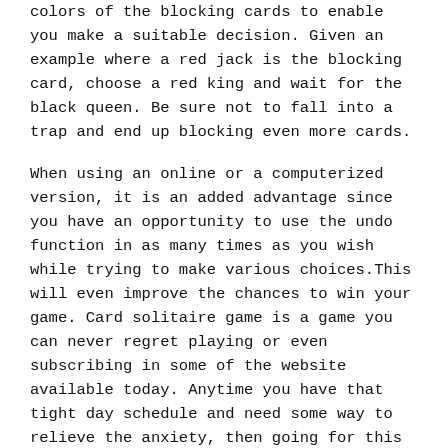colors of the blocking cards to enable you make a suitable decision. Given an example where a red jack is the blocking card, choose a red king and wait for the black queen. Be sure not to fall into a trap and end up blocking even more cards.
When using an online or a computerized version, it is an added advantage since you have an opportunity to use the undo function in as many times as you wish while trying to make various choices.This will even improve the chances to win your game. Card solitaire game is a game you can never regret playing or even subscribing in some of the website available today. Anytime you have that tight day schedule and need some way to relieve the anxiety, then going for this card game will give you all the relaxing and fun you are up to. Just in every game you play, master the moves to help you improve on the tactics you will be using for your next game. Go have fun with online solitaire